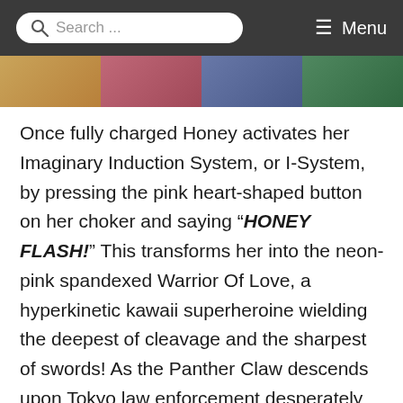Search ... Menu
[Figure (photo): Horizontal strip of images showing colorful scenes from a film]
Once fully charged Honey activates her Imaginary Induction System, or I-System, by pressing the pink heart-shaped button on her choker and saying “HONEY FLASH!” This transforms her into the neon-pink spandexed Warrior Of Love, a hyperkinetic kawaii superheroine wielding the deepest of cleavage and the sharpest of swords! As the Panther Claw descends upon Tokyo law enforcement desperately tries to contain the situation. When police officer Natsuko Aki (Mikako Ichikawa) arrives on the scene with her assistants Todoroki (Ryo Kase) and Goki (Ryo Iwamatsu) she realizes that she got more than she ever bargained for. The strange